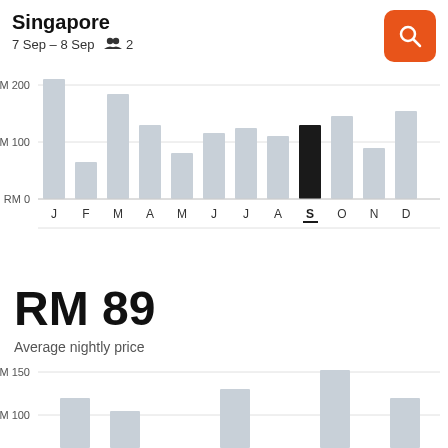Singapore
7 Sep – 8 Sep  👥 2
[Figure (bar-chart): Average nightly price by month]
RM 89
Average nightly price
[Figure (bar-chart): Second chart partial view]